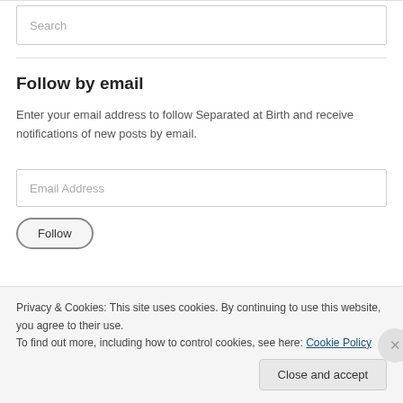[Figure (screenshot): Search input field with placeholder text 'Search']
Follow by email
Enter your email address to follow Separated at Birth and receive notifications of new posts by email.
[Figure (screenshot): Email Address input field placeholder]
[Figure (screenshot): Follow button with rounded pill border]
Privacy & Cookies: This site uses cookies. By continuing to use this website, you agree to their use.
To find out more, including how to control cookies, see here: Cookie Policy
Close and accept